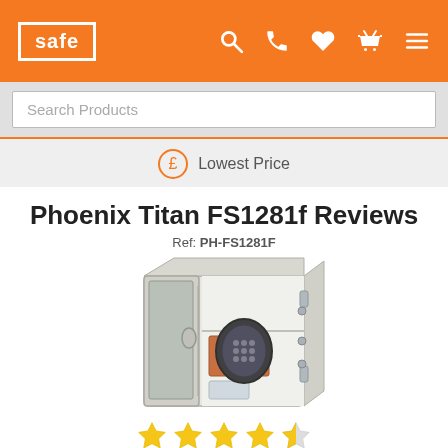safe
Search Products
Lowest Price
Phoenix Titan FS1281f Reviews
Ref: PH-FS1281F
[Figure (photo): Phoenix Titan FS1281f safe with door open, showing interior contents and electronic keypad lock on the front door]
[Figure (other): 5-star rating display showing 5 gold stars (with last star partially filled)]